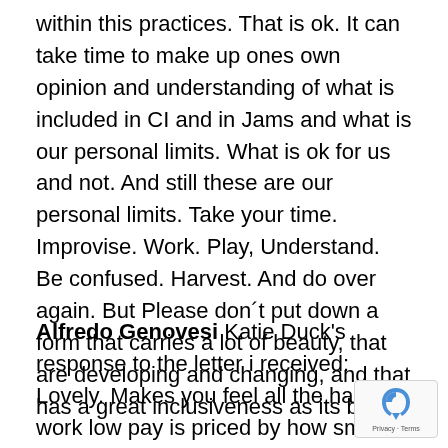within this practices. That is ok. It can take time to make up ones own opinion and understanding of what is included in CI and in Jams and what is our personal limits. What is ok for us and not. And still these are our personal limits. Take your time. Improvise. Work. Play, Understand. Be confused. Harvest. And do over again. But Please don´t put down a form that carries a lot of beauty, that are developing and changing, and that has a great inclusiveness as its base.
Alfredo Genovesi Katie Duck's response to the letter i received: Lovely. Makes you feel all the hard work low pay is priced by how smart the students we collaborate with are. Oh the times they are a changing. I vote to completely drop